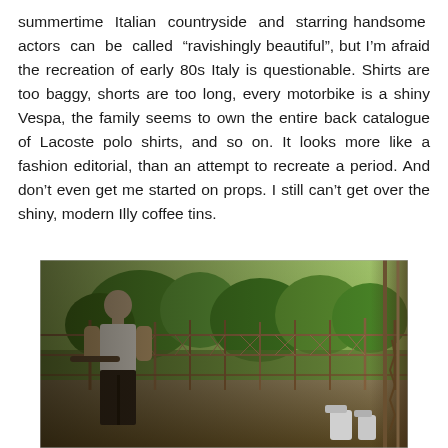summertime Italian countryside and starring handsome actors can be called "ravishingly beautiful", but I'm afraid the recreation of early 80s Italy is questionable. Shirts are too baggy, shorts are too long, every motorbike is a shiny Vespa, the family seems to own the entire back catalogue of Lacoste polo shirts, and so on. It looks more like a fashion editorial, than an attempt to recreate a period. And don't even get me started on props. I still can't get over the shiny, modern Illy coffee tins.
[Figure (photo): A man in a white tank top and dark trousers seen from behind, standing near a wire fence in an outdoor area with trees and greenery visible in the background.]